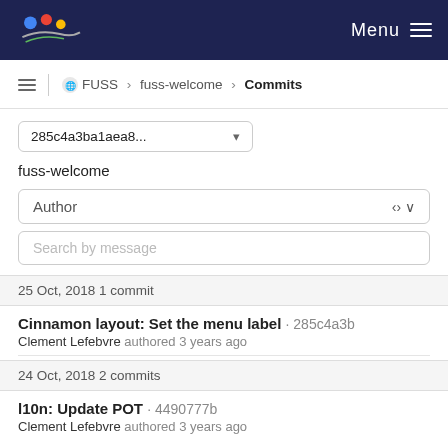FUSS — Menu
≡ | FUSS > fuss-welcome > Commits
285c4a3ba1aea8...  ▾
fuss-welcome
Author
Search by message
25 Oct, 2018 1 commit
Cinnamon layout: Set the menu label · 285c4a3b
Clement Lefebvre authored 3 years ago
24 Oct, 2018 2 commits
l10n: Update POT · 4490777b
Clement Lefebvre authored 3 years ago